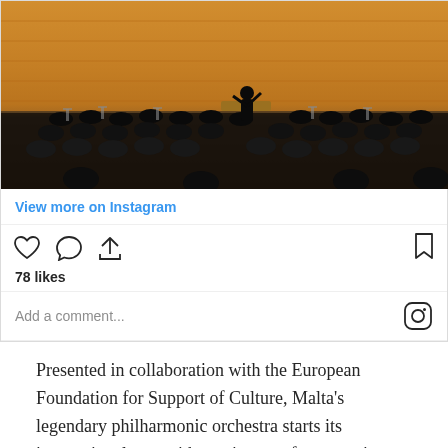[Figure (photo): Orchestra performing on stage, viewed from audience perspective. Musicians in black formal wear seated on a warm wood-paneled concert hall stage with a conductor at the podium.]
View more on Instagram
78 likes
Add a comment...
Presented in collaboration with the European Foundation for Support of Culture, Malta's legendary philharmonic orchestra starts its international tour with a unique performance in Malta conducted by Sergey Smbatyan and featuring pianist Ingolf Wunder. Apart from this performance in Malta, the MPO Valletta 2018 International tour will also travel to Philadelphia, North Bethesda, New York, Moscow